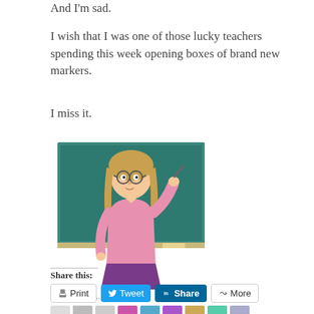And I'm sad.
I wish that I was one of those lucky teachers spending this week opening boxes of brand new markers.
I miss it.
[Figure (illustration): Cartoon illustration of a female teacher with glasses and blonde hair, wearing a pink top and purple skirt, standing in front of a teal chalkboard and gesturing with her hand.]
My old self......
Share this:
Print  Tweet  Share  More